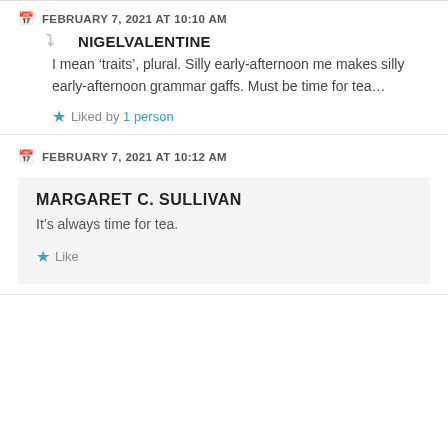FEBRUARY 7, 2021 AT 10:10 AM
NIGELVALENTINE
I mean ‘traits’, plural. Silly early-afternoon me makes silly early-afternoon grammar gaffs. Must be time for tea…
Liked by 1 person
FEBRUARY 7, 2021 AT 10:12 AM
MARGARET C. SULLIVAN
It’s always time for tea.
Like